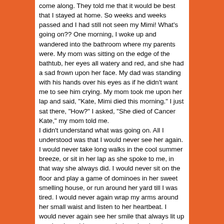come along. They told me that it would be best that I stayed at home. So weeks and weeks passed and I had still not seen my Mimi! What's going on?? One morning, I woke up and wandered into the bathroom where my parents were. My mom was sitting on the edge of the bathtub, her eyes all watery and red, and she had a sad frown upon her face. My dad was standing with his hands over his eyes as if he didn't want me to see him crying. My mom took me upon her lap and said, "Kate, Mimi died this morning." I just sat there, "How?" I asked, "She died of Cancer Kate," my mom told me. I didn't understand what was going on. All I understood was that I would never see her again. I would never take long walks in the cool summer breeze, or sit in her lap as she spoke to me, in that way she always did. I would never sit on the floor and play a game of dominoes in her sweet smelling house, or run around her yard till I was tired. I would never again wrap my arms around her small waist and listen to her heartbeat. I would never again see her smile that always lit up my day. I would never again hear her laugh, or see her cry. I remember her funeral, I cans till see her long wooden coffin with colorful flowers laid across it. I remember bowing my head to pray, and I remember meeting all of her friends. I remember when we went to her house one last time to pack all of her stuff up. I remember going over to the hallway closet and opening it up to see no familiar jackets or old boxes with labels that I